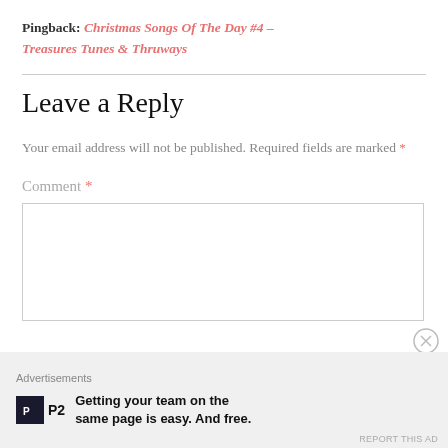Pingback: Christmas Songs Of The Day #4 – Treasures Tunes & Thruways
Leave a Reply
Your email address will not be published. Required fields are marked *
Comment *
Advertisements
Getting your team on the same page is easy. And free.